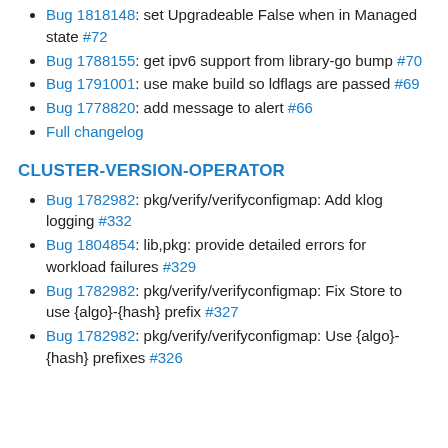Bug 1818148: set Upgradeable False when in Managed state #72
Bug 1788155: get ipv6 support from library-go bump #70
Bug 1791001: use make build so ldflags are passed #69
Bug 1778820: add message to alert #66
Full changelog
CLUSTER-VERSION-OPERATOR
Bug 1782982: pkg/verify/verifyconfigmap: Add klog logging #332
Bug 1804854: lib,pkg: provide detailed errors for workload failures #329
Bug 1782982: pkg/verify/verifyconfigmap: Fix Store to use {algo}-{hash} prefix #327
Bug 1782982: pkg/verify/verifyconfigmap: Use {algo}-{hash} prefixes #326